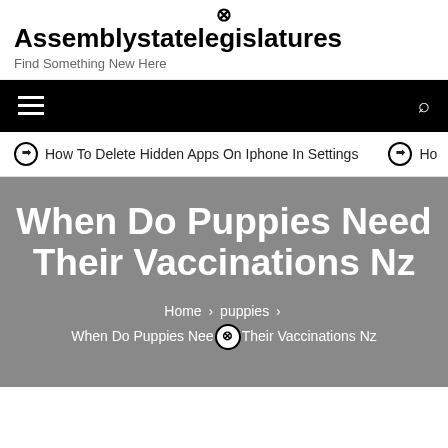Assemblystatelegislatures
Find Something New Here
How To Delete Hidden Apps On Iphone In Settings
When Do Puppies Need Their Vaccinations Nz
Home > puppies > When Do Puppies Need Their Vaccinations Nz